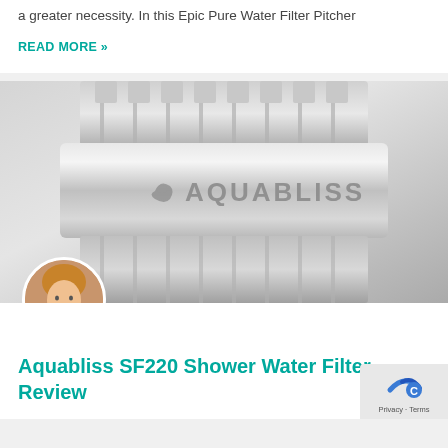a greater necessity. In this Epic Pure Water Filter Pitcher
READ MORE »
[Figure (photo): Close-up product photo of an AquaBliss SF220 shower water filter with chrome/silver finish and the AquaBliss logo visible on the band]
Aquabliss SF220 Shower Water Filter Review